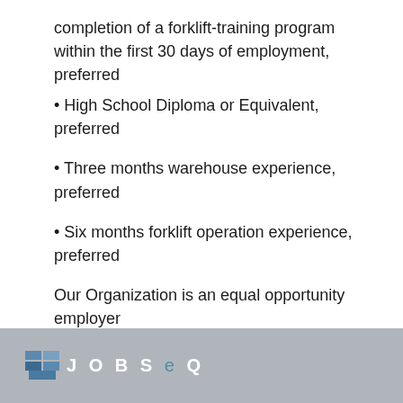completion of a forklift-training program within the first 30 days of employment, preferred
High School Diploma or Equivalent, preferred
Three months warehouse experience, preferred
Six months forklift operation experience, preferred
Our Organization is an equal opportunity employer
JOBSEQ